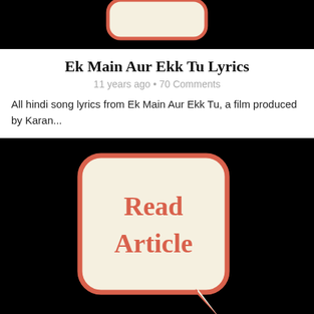[Figure (illustration): Black background with a rounded speech bubble containing 'Read Article' text in red/coral color, partially visible at top of page]
Ek Main Aur Ekk Tu Lyrics
11 years ago • 70 Comments
All hindi song lyrics from Ek Main Aur Ekk Tu, a film produced by Karan...
[Figure (illustration): Black background with a rounded speech bubble containing 'Read Article' text in red/coral color with tail pointing bottom-right]
Gubbare Lyrics – Ek Main Aur Ekk Tu